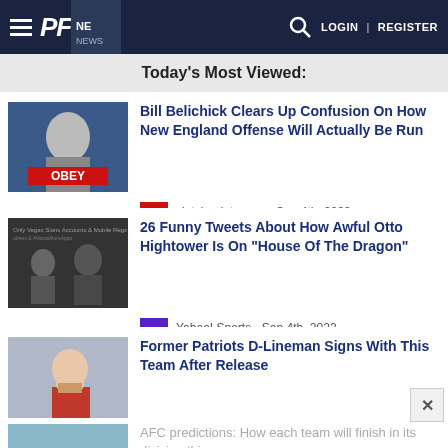PF | LOGIN | REGISTER
Today's Most Viewed:
Bill Belichick Clears Up Confusion On How New England Offense Will Actually Be Run
clutchpoints.com - Sep 4th, 2022
26 Funny Tweets About How Awful Otto Hightower Is On "House Of The Dragon"
Yahoo! Sports - Sep 4th, 2022
Former Patriots D-Lineman Signs With This Team After Release
NESN - Sep 5th, 2022
AFC predictions: How each team will finish in its division this season